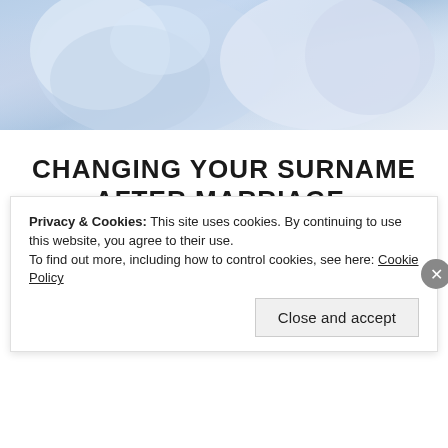[Figure (photo): Wedding photo showing couple in white/light blue formal wear, cropped to show torsos, blurred background]
CHANGING YOUR SURNAME AFTER MARRIAGE.
I have seen many articles popping up on the big wide web exploring the shift in women not changing their last names after marriage. I find these articles extremely interesting. I also found it fascinating that
Privacy & Cookies: This site uses cookies. By continuing to use this website, you agree to their use. To find out more, including how to control cookies, see here: Cookie Policy
Close and accept